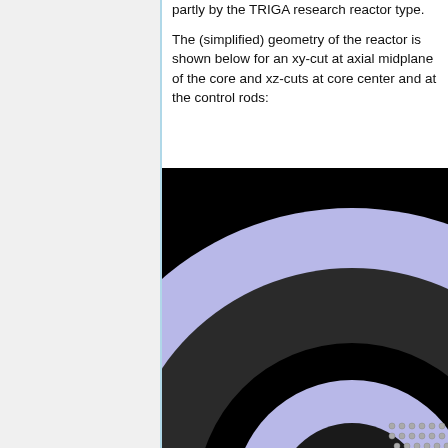partly by the TRIGA research reactor type.
The (simplified) geometry of the reactor is shown below for an xy-cut at axial midplane of the core and xz-cuts at core center and at the control rods:
[Figure (engineering-diagram): Cross-sectional diagram of a TRIGA reactor geometry showing concentric rings: black background, lavender/light purple outer ring, dark gray/charcoal middle ring, black inner area, with small circular fuel rod elements visible at the bottom right.]